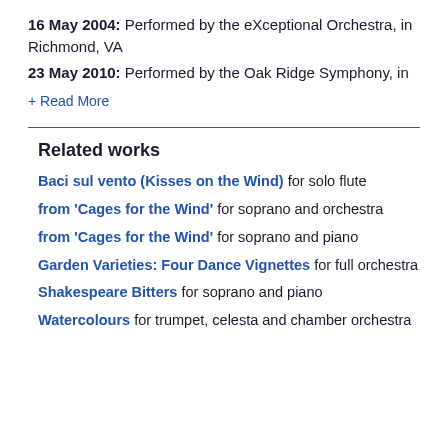16 May 2004: Performed by the eXceptional Orchestra, in Richmond, VA
23 May 2010: Performed by the Oak Ridge Symphony, in
+ Read More
Related works
Baci sul vento (Kisses on the Wind) for solo flute
from 'Cages for the Wind' for soprano and orchestra
from 'Cages for the Wind' for soprano and piano
Garden Varieties: Four Dance Vignettes for full orchestra
Shakespeare Bitters for soprano and piano
Watercolours for trumpet, celesta and chamber orchestra